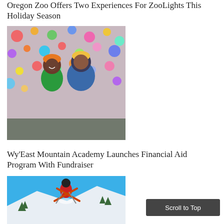Oregon Zoo Offers Two Experiences For ZooLights This Holiday Season
[Figure (photo): Two people wearing winter hats and coats standing in front of colorful holiday lights bokeh background at ZooLights]
Wy’East Mountain Academy Launches Financial Aid Program With Fundraiser
[Figure (photo): Skier in red jacket performing a jump with crossed skis against a blue sky, snowy mountain landscape below]
Scroll to Top